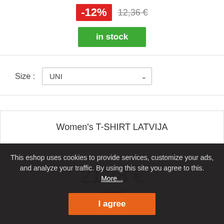-12% 12,36 €
in stock
Size : UNI
Women's T-SHIRT LATVIJA
21,78 €
This eshop uses cookies to provide services, customize your ads, and analyze your traffic. By using this site you agree to this. More...
I agree